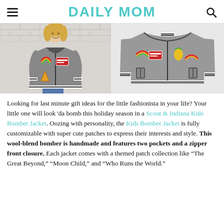DAILY MOM
[Figure (photo): Two photos side by side: left shows a smiling girl wearing a gray wool-blend bomber jacket with colorful patches (rainbow, name tag, pizza slice) over a white brick wall background; right shows the same gray bomber jacket laid flat as a product photo, displaying patches including rainbow, pineapple, name tag, and striped collar and cuffs.]
Looking for last minute gift ideas for the little fashionista in your life? Your little one will look ‘da bomb this holiday season in a Scout & Indiana Kids Bomber Jacket. Oozing with personality, the Kids Bomber Jacket is fully customizable with super cute patches to express their interests and style. This wool-blend bomber is handmade and features two pockets and a zipper front closure. Each jacket comes with a themed patch collection like “The Great Beyond,” “Moon Child,” and “Who Runs the World.”